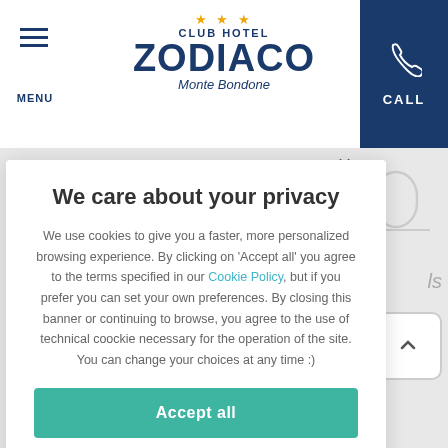MENU | CLUB HOTEL ZODIACO Monte Bondone | CALL
We care about your privacy
We use cookies to give you a faster, more personalized browsing experience. By clicking on 'Accept all' you agree to the terms specified in our Cookie Policy, but if you prefer you can set your own preferences. By closing this banner or continuing to browse, you agree to the use of technical coockie necessary for the operation of the site. You can change your choices at any time :)
Accept all
Show details